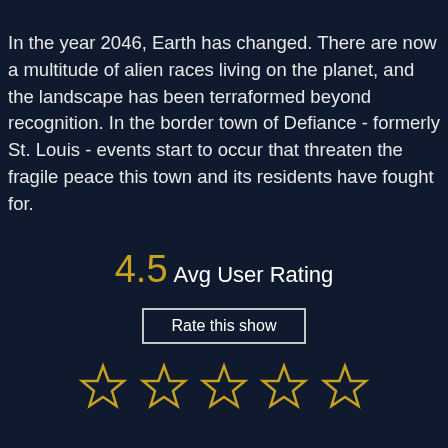In the year 2046, Earth has changed. There are now a multitude of alien races living on the planet, and the landscape has been terraformed beyond recognition. In the border town of Defiance - formerly St. Louis - events start to occur that threaten the fragile peace this town and its residents have fought for.
4.5  Avg User Rating
Rate this show
[Figure (other): Five outline star icons in gold/yellow color representing a 5-star rating interface]